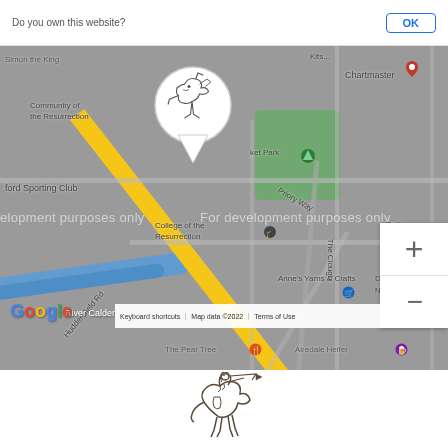[Figure (map): Google Maps screenshot showing an area around College of the Resurrection, Community of the Resurrection, River Calder, Huddersfield Rd, and nearby landmarks. A custom map pin with a knight/horse logo is shown. Watermark reads 'For development purposes only'. Map data ©2022.]
[Figure (logo): Illustration/logo of a knight on horseback with a pennant, in dark grey/brown line art style, displayed at the bottom of the page on white background.]